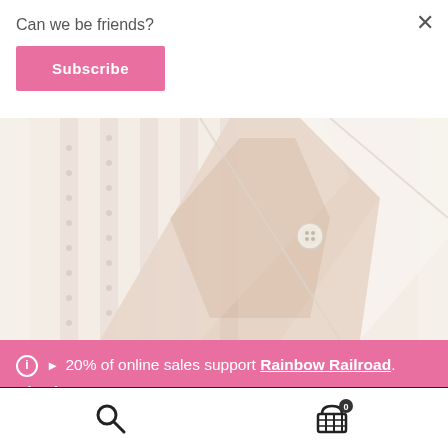Can we be friends?
Subscribe
✕
[Figure (photo): Close-up photo of a white lace/eyelet fabric shirt with a button at the collar, person wearing it visible underneath.]
ℹ ▸ 20% of online sales support Rainbow Railroad. Dismiss